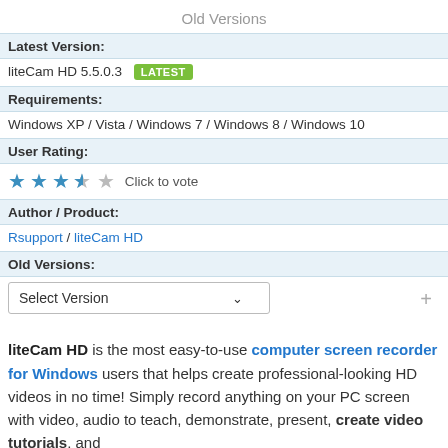Old Versions
| Latest Version: |  |
| liteCam HD 5.5.0.3  [LATEST] |  |
| Requirements: |  |
| Windows XP / Vista / Windows 7 / Windows 8 / Windows 10 |  |
| User Rating: |  |
| ★★★½☆  Click to vote |  |
| Author / Product: |  |
| Rsupport / liteCam HD |  |
| Old Versions: |  |
| Select Version |  |
liteCam HD is the most easy-to-use computer screen recorder for Windows users that helps create professional-looking HD videos in no time! Simply record anything on your PC screen with video, audio to teach, demonstrate, present, create video tutorials, and